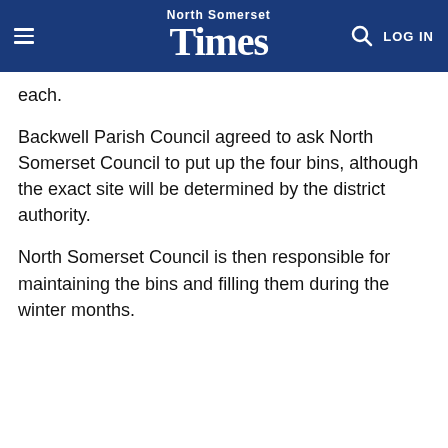North Somerset Times
each.
Backwell Parish Council agreed to ask North Somerset Council to put up the four bins, although the exact site will be determined by the district authority.
North Somerset Council is then responsible for maintaining the bins and filling them during the winter months.